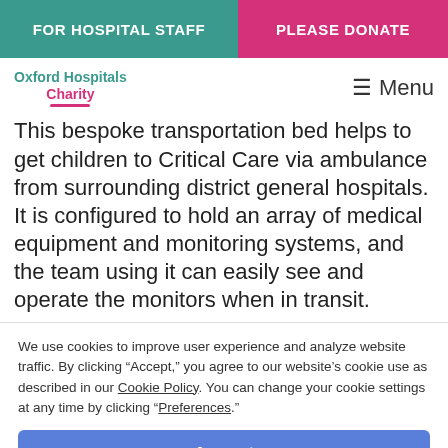FOR HOSPITAL STAFF | PLEASE DONATE
[Figure (logo): Oxford Hospitals Charity logo with teal and pink text]
This bespoke transportation bed helps to get children to Critical Care via ambulance from surrounding district general hospitals. It is configured to hold an array of medical equipment and monitoring systems, and the team using it can easily see and operate the monitors when in transit.
We use cookies to improve user experience and analyze website traffic. By clicking “Accept,” you agree to our website’s cookie use as described in our Cookie Policy. You can change your cookie settings at any time by clicking “Preferences.”